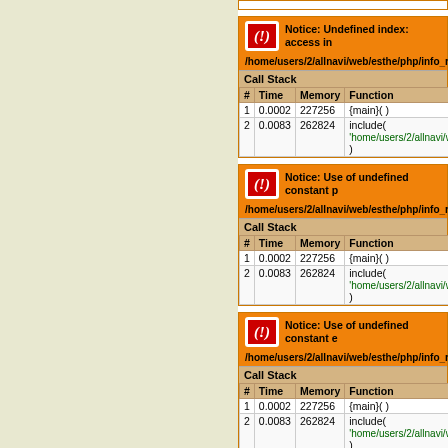| # | Time | Memory | Function |
| --- | --- | --- | --- |
| 1 | 0.0002 | 227256 | {main}( ) |
| 2 | 0.0083 | 262824 | include( '/home/users/2/allnavi/web/e
) |
[Figure (screenshot): PHP Notice error block: Undefined index: access in /home/users/2/allnavi/web/esthe/php/info_re... with Call Stack table showing two rows]
[Figure (screenshot): PHP Notice error block: Use of undefined constant p in /home/users/2/allnavi/web/esthe/php/info_re... with Call Stack table]
[Figure (screenshot): PHP Notice error block: Use of undefined constant e in /home/users/2/allnavi/web/esthe/php/info_re... with Call Stack table]